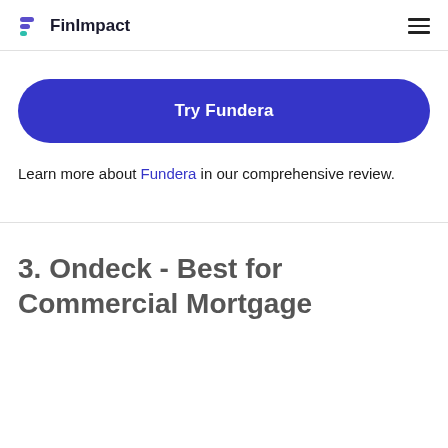FinImpact
[Figure (other): Try Fundera call-to-action button (blue rounded rectangle)]
Learn more about Fundera in our comprehensive review.
3. Ondeck - Best for Commercial Mortgage